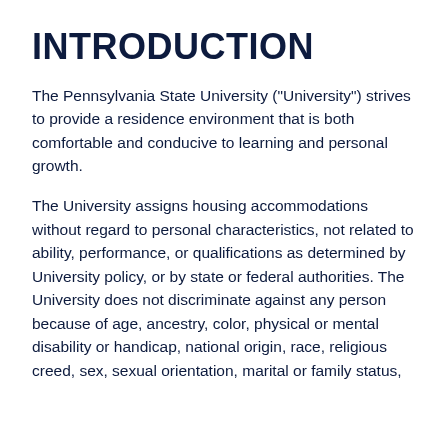INTRODUCTION
The Pennsylvania State University ("University") strives to provide a residence environment that is both comfortable and conducive to learning and personal growth.
The University assigns housing accommodations without regard to personal characteristics, not related to ability, performance, or qualifications as determined by University policy, or by state or federal authorities. The University does not discriminate against any person because of age, ancestry, color, physical or mental disability or handicap, national origin, race, religious creed, sex, sexual orientation, marital or family status,